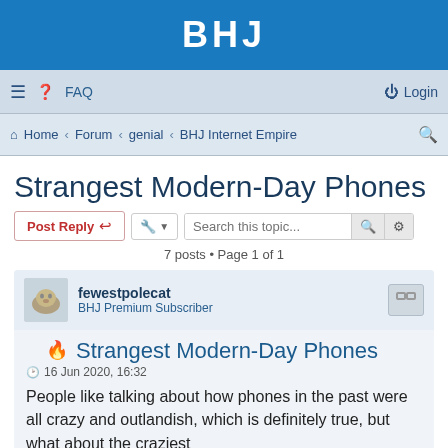BHJ
≡  ❓FAQ   ⏻ Login
🏠 Home ‹ Forum ‹ genial ‹ BHJ Internet Empire 🔍
Strangest Modern-Day Phones
Post Reply  🔧 ▾  Search this topic...  🔍  ⚙
7 posts • Page 1 of 1
fewestpolecat
BHJ Premium Subscriber
Strangest Modern-Day Phones
16 Jun 2020, 16:32
People like talking about how phones in the past were all crazy and outlandish, which is definitely true, but what about the craziest